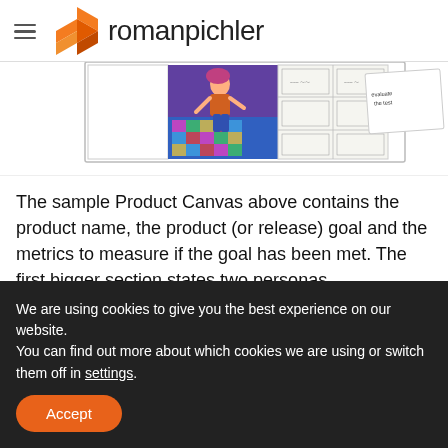romanpichler
[Figure (screenshot): A horizontal strip showing several images: a white rectangle placeholder, a colorful anime-style illustration of a dancing figure, a comic/storyboard panel page, and a small document labeled 'evaluate the test'.]
The sample Product Canvas above contains the product name, the product (or release) goal and the metrics to measure if the goal has been met. The first bigger section states two personas characterising the target users and customers with their needs. The next section sketches important
We are using cookies to give you the best experience on our website.
You can find out more about which cookies we are using or switch them off in settings.
Accept